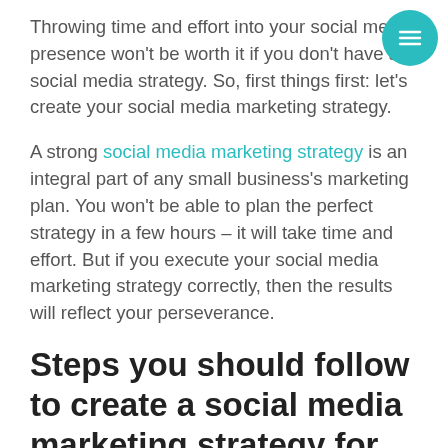Throwing time and effort into your social media presence won't be worth it if you don't have a social media strategy. So, first things first: let's create your social media marketing strategy.
A strong social media marketing strategy is an integral part of any small business's marketing plan. You won't be able to plan the perfect strategy in a few hours – it will take time and effort. But if you execute your social media marketing strategy correctly, then the results will reflect your perseverance.
Steps you should follow to create a social media marketing strategy for your business
If you have a social media strategy that...